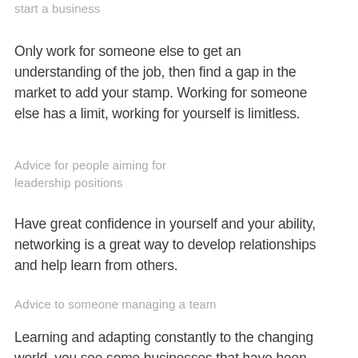start a business
Only work for someone else to get an understanding of the job, then find a gap in the market to add your stamp. Working for someone else has a limit, working for yourself is limitless.
Advice for people aiming for leadership positions
Have great confidence in yourself and your ability, networking is a great way to develop relationships and help learn from others.
Advice to someone managing a team
Learning and adapting constantly to the changing world, you see some businesses that have been around for